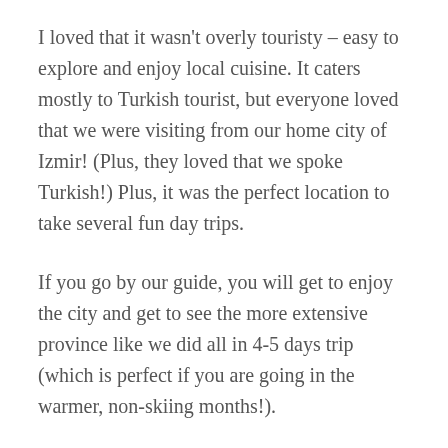I loved that it wasn't overly touristy – easy to explore and enjoy local cuisine. It caters mostly to Turkish tourist, but everyone loved that we were visiting from our home city of Izmir! (Plus, they loved that we spoke Turkish!) Plus, it was the perfect location to take several fun day trips.
If you go by our guide, you will get to enjoy the city and get to see the more extensive province like we did all in 4-5 days trip (which is perfect if you are going in the warmer, non-skiing months!).
How we organized...